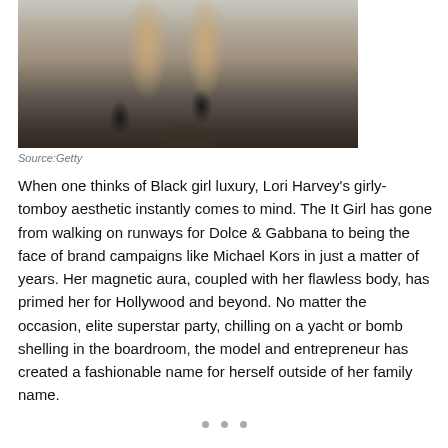[Figure (photo): Close-up photo of a person's legs wearing black strappy high-heel sandals, standing on a sidewalk with fallen leaves on the ground]
Source:Getty
When one thinks of Black girl luxury, Lori Harvey's girly-tomboy aesthetic instantly comes to mind. The It Girl has gone from walking on runways for Dolce & Gabbana to being the face of brand campaigns like Michael Kors in just a matter of years. Her magnetic aura, coupled with her flawless body, has primed her for Hollywood and beyond. No matter the occasion, elite superstar party, chilling on a yacht or bomb shelling in the boardroom, the model and entrepreneur has created a fashionable name for herself outside of her family name.